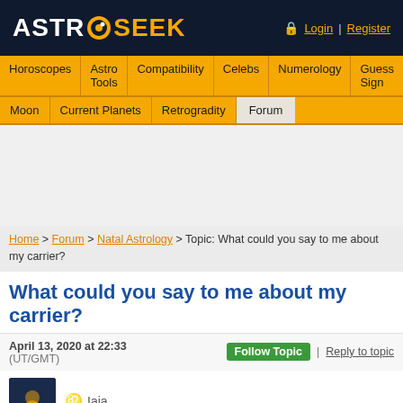ASTRO SEEK — Login | Register
Horoscopes | Astro Tools | Compatibility | Celebs | Numerology | Guess Sign
Moon | Current Planets | Retrogradity | Forum
[Figure (other): Advertisement area (blank grey box)]
Home > Forum > Natal Astrology > Topic: What could you say to me about my carrier?
What could you say to me about my carrier?
April 13, 2020 at 22:33 (UT/GMT)
Follow Topic | Reply to topic
♌ Iaia